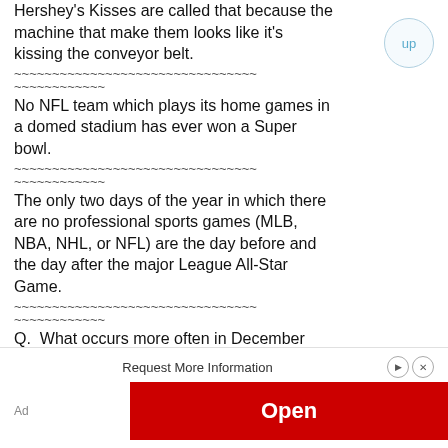Hershey's Kisses are called that because the machine that make them looks like it's kissing the conveyor belt.
~~~~~~~~~~~~~~~~~~~~~~~~~~~~~~~~~~~~~~~~~~~~~~~~
No NFL team which plays its home games in a domed stadium has ever won a Super bowl.
~~~~~~~~~~~~~~~~~~~~~~~~~~~~~~~~~~~~~~~~~~~~~~~~
The only two days of the year in which there are no professional sports games (MLB, NBA, NHL, or NFL) are the day before and the day after the major League All-Star Game.
~~~~~~~~~~~~~~~~~~~~~~~~~~~~~~~~~~~~~~~~~~~~~~~~
Q.  What occurs more often in December than any other month?
A.  Conception.
~~~~~~~~~~~~~~~~~~~~~~~~~~~~~~~~~~~~~~~~~~~~~~~~
Q.  What separates "60 Minutes," on CBS...
Request More Information
Open
Ad